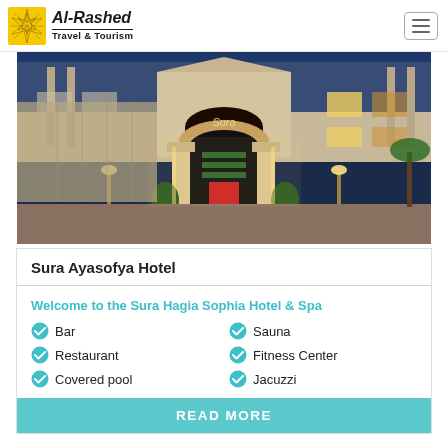Al-Rashed Travel & Tourism
[Figure (photo): Exterior night photo of Sura Ayasofya Hotel entrance with illuminated archway and red carpet]
Sura Ayasofya Hotel
Welcome to the Sura Hagia Sophia Hotel & Spa
Bar
Sauna
Restaurant
Fitness Center
Covered pool
Jacuzzi
READ MORE